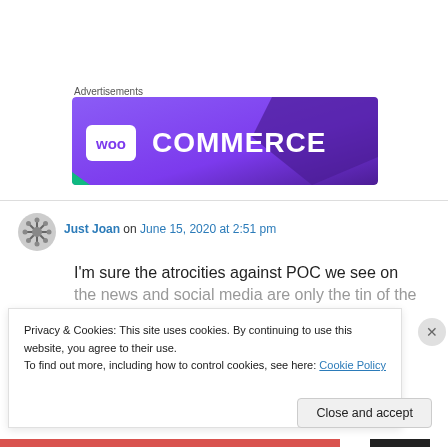Advertisements
[Figure (logo): WooCommerce advertisement banner with purple gradient background and WooCommerce logo in white]
Just Joan on June 15, 2020 at 2:51 pm
I'm sure the atrocities against POC we see on the news and social media are only the tin of the
Privacy & Cookies: This site uses cookies. By continuing to use this website, you agree to their use.
To find out more, including how to control cookies, see here: Cookie Policy
Close and accept